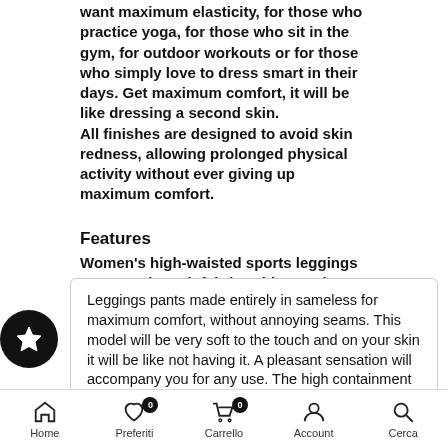want maximum elasticity, for those who practice yoga, for those who sit in the gym, for outdoor workouts or for those who simply love to dress smart in their days. Get maximum comfort, it will be like dressing a second skin.
All finishes are designed to avoid skin redness, allowing prolonged physical activity without ever giving up maximum comfort.
Features
Women's high-waisted sports leggings trousers, in tech fabric, with sameless finishes, very comfortable and containing.
Leggings pants made entirely in sameless for maximum comfort, without annoying seams. This model will be very soft to the touch and on your skin it will be like not having it. A pleasant sensation will accompany you for any use. The high containment waist helps to slim the belly, favoring a fl...
Home  Preferiti  Carrello  Account  Cerca